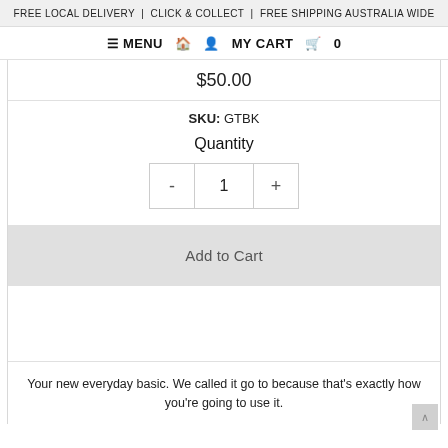FREE LOCAL DELIVERY | CLICK & COLLECT | FREE SHIPPING AUSTRALIA WIDE
≡ MENU 🏠 👤 MY CART 🛒 0
$50.00
SKU: GTBK
Quantity
- 1 +
Add to Cart
Your new everyday basic. We called it go to because that's exactly how you're going to use it.